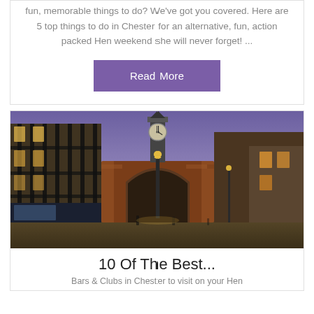fun, memorable things to do? We've got you covered. Here are 5 top things to do in Chester for an alternative, fun, action packed Hen weekend she will never forget! ...
Read More
[Figure (photo): Street scene in Chester showing Tudor black-and-white timber-framed buildings on the left, a large brick archway (Eastgate) in the center with the Eastgate Clock on top, illuminated at dusk under a purple-blue sky.]
10 Of The Best...
Bars & Clubs in Chester to visit on your Hen